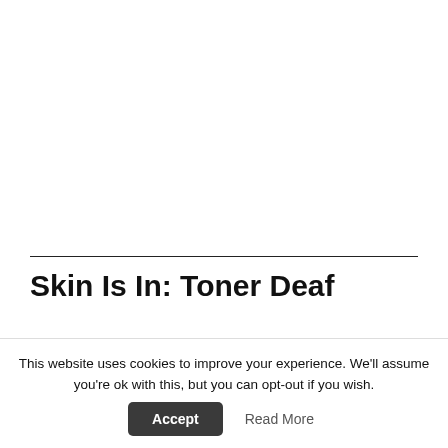Skin Is In: Toner Deaf
by Heba El-Husseini in Beauty 1 📄
This website uses cookies to improve your experience. We'll assume you're ok with this, but you can opt-out if you wish. Accept Read More